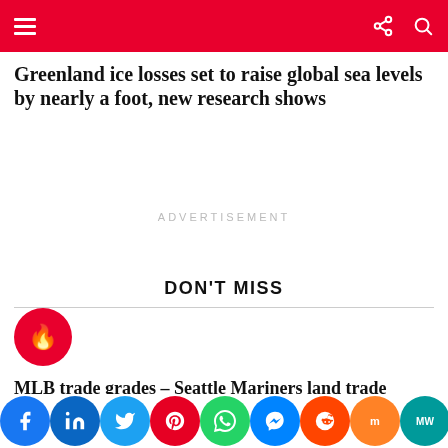Navigation bar with menu and icons
Greenland ice losses set to raise global sea levels by nearly a foot, new research shows
ADVERTISEMENT
DON'T MISS
[Figure (logo): Red circle with flame/fire icon indicating trending/hot content]
MLB trade grades – Seattle Mariners land trade deadline’s top available pitcher in deal for Luis Castillo
[Figure (infographic): Social sharing buttons row: Facebook, LinkedIn, Twitter, Pinterest, WhatsApp, Messenger, Reddit, Mix, MW, and an upload/share button]